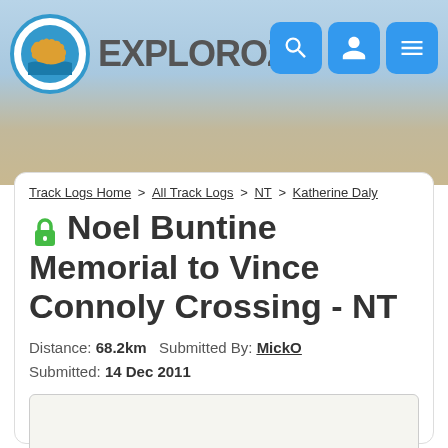[Figure (logo): ExploreOZ website header with logo (orange Australia map on blue circle), site name EXPLOROZ, and navigation icons (search, user, menu) on a landscape background]
Track Logs Home > All Track Logs > NT > Katherine Daly
🔓 Noel Buntine Memorial to Vince Connoly Crossing - NT
Distance: 68.2km  Submitted By: MickO
Submitted: 14 Dec 2011
[Figure (map): Map area (blank/loading) for the track log]